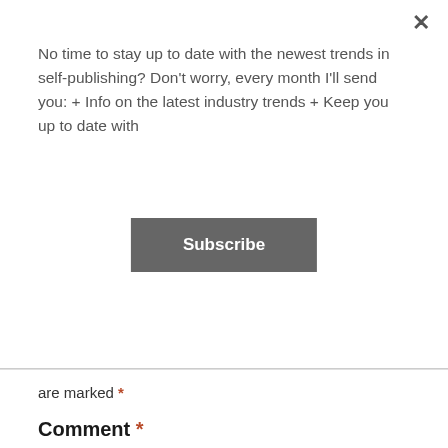× No time to stay up to date with the newest trends in self-publishing? Don't worry, every month I'll send you: + Info on the latest industry trends + Keep you up to date with
[Figure (other): Subscribe button - a dark grey rectangular button with white bold text reading 'Subscribe']
are marked *
Comment *
[Figure (other): Empty comment text area form field with a light grey border]